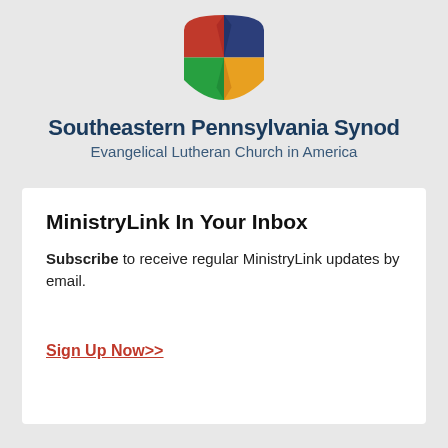[Figure (logo): ELCA shield logo with four quadrants: red top-left, blue top-right, green bottom-left, orange/yellow bottom-right]
Southeastern Pennsylvania Synod
Evangelical Lutheran Church in America
MinistryLink In Your Inbox
Subscribe to receive regular MinistryLink updates by email.
Sign Up Now>>